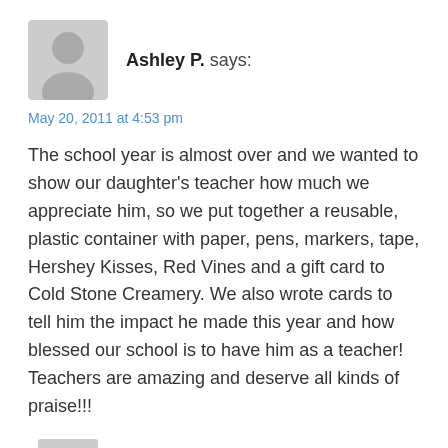[Figure (illustration): Grey placeholder avatar icon showing a silhouette of a person]
Ashley P. says:
May 20, 2011 at 4:53 pm
The school year is almost over and we wanted to show our daughter's teacher how much we appreciate him, so we put together a reusable, plastic container with paper, pens, markers, tape, Hershey Kisses, Red Vines and a gift card to Cold Stone Creamery. We also wrote cards to tell him the impact he made this year and how blessed our school is to have him as a teacher! Teachers are amazing and deserve all kinds of praise!!!
[Figure (illustration): Grey placeholder avatar icon (partial, bottom of page)]